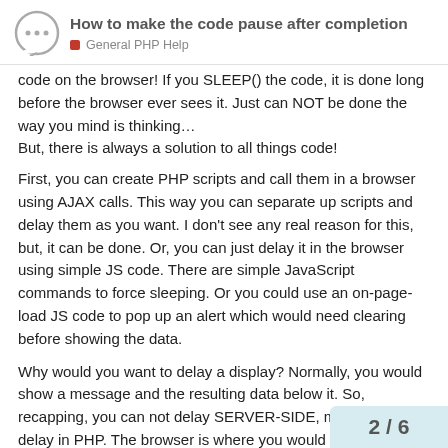How to make the code pause after completion
General PHP Help
code on the browser! If you SLEEP() the code, it is done long before the browser ever sees it. Just can NOT be done the way you mind is thinking…
But, there is always a solution to all things code!
First, you can create PHP scripts and call them in a browser using AJAX calls. This way you can separate up scripts and delay them as you want. I don't see any real reason for this, but, it can be done. Or, you can just delay it in the browser using simple JS code. There are simple JavaScript commands to force sleeping. Or you could use an on-page-load JS code to pop up an alert which would need clearing before showing the data.
Why would you want to delay a display? Normally, you would show a message and the resulting data below it. So, recapping, you can not delay SERVER-SIDE, meaning no delay in PHP. The browser is where you would delay res do that. One simple way would be to hide,
2 / 6